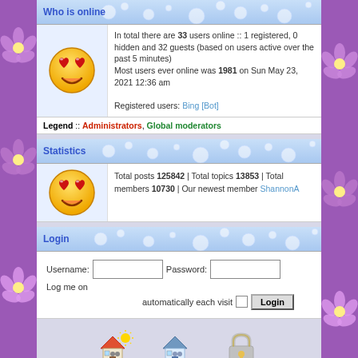Who is online
In total there are 33 users online :: 1 registered, 0 hidden and 32 guests (based on users active over the past 5 minutes)
Most users ever online was 1981 on Sun May 23, 2021 12:36 am

Registered users: Bing [Bot]
Legend :: Administrators, Global moderators
Statistics
Total posts 125842 | Total topics 13853 | Total members 10730 | Our newest member ShannonA
Login
Username: [input] Password: [input] Log me on automatically each visit [checkbox] Login
[Figure (infographic): Forum legend icons: house with sun (Unread posts), house without sun (No unread posts), padlock (Forum locked)]
Powered by phpBB® Forum Software © phpBB Group
[ Time : 0.088s | 13 Queries | GZIP : Off ]